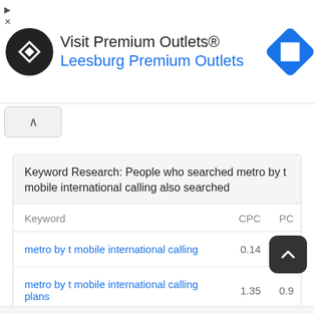[Figure (other): Advertisement banner for 'Visit Premium Outlets® Leesburg Premium Outlets' with circular logo and blue navigation icon]
| Keyword | CPC | PC |
| --- | --- | --- |
| metro by t mobile international calling | 0.14 | 0.9 |
| metro by t mobile international calling plans | 1.35 | 0.9 |